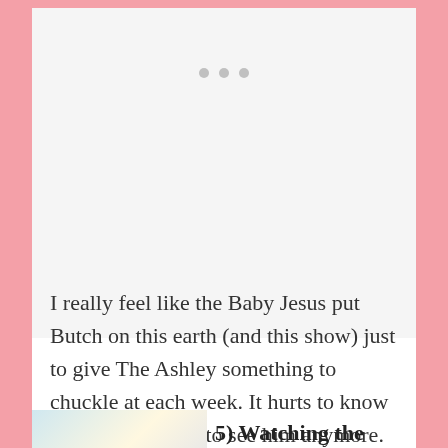[Figure (photo): White/light gray placeholder image area with three gray dots at the top center, indicating a photo carousel or slideshow]
I really feel like the Baby Jesus put Butch on this earth (and this show) just to give The Ashley something to chuckle at each week. It hurts to know that we won't get to see him anymore.
[Figure (photo): Partial photo visible at the bottom left, showing a bright/washed out scene with a silhouette, partially cropped]
5) Watching the